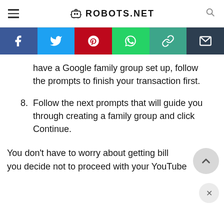ROBOTS.NET
[Figure (infographic): Social media sharing bar with icons for Facebook, Twitter, Pinterest, WhatsApp, copy link, and email]
have a Google family group set up, follow the prompts to finish your transaction first.
8. Follow the next prompts that will guide you through creating a family group and click Continue.
You don’t have to worry about getting bill you decide not to proceed with your YouTube